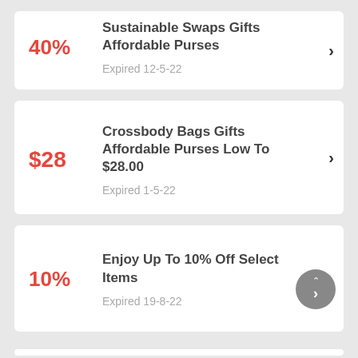40% - Sustainable Swaps Gifts Affordable Purses - Expired 12-5-22
$28 - Crossbody Bags Gifts Affordable Purses Low To $28.00 - Expired 1-5-22
10% - Enjoy Up To 10% Off Select Items - Expired 19-8-22